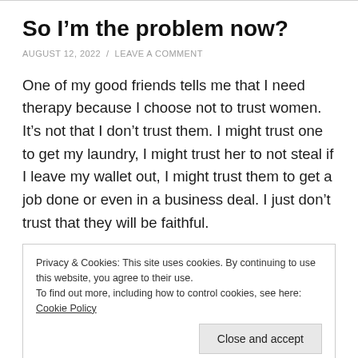So I’m the problem now?
AUGUST 12, 2022 / LEAVE A COMMENT
One of my good friends tells me that I need therapy because I choose not to trust women. It’s not that I don’t trust them. I might trust one to get my laundry, I might trust her to not steal if I leave my wallet out, I might trust them to get a job done or even in a business deal. I just don’t trust that they will be faithful.
Privacy & Cookies: This site uses cookies. By continuing to use this website, you agree to their use.
To find out more, including how to control cookies, see here: Cookie Policy
[Close and accept button]
boyfriend in a fwb situation. But I don’t want the title. If